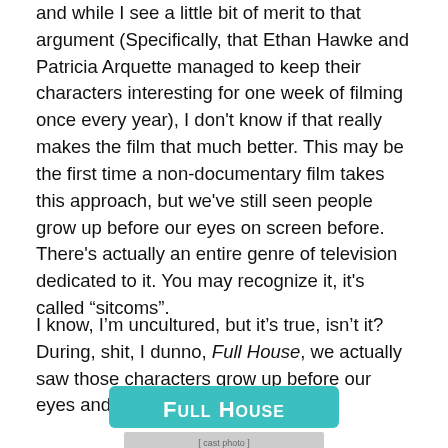and while I see a little bit of merit to that argument (Specifically, that Ethan Hawke and Patricia Arquette managed to keep their characters interesting for one week of filming once every year), I don't know if that really makes the film that much better. This may be the first time a non-documentary film takes this approach, but we've still seen people grow up before our eyes on screen before. There's actually an entire genre of television dedicated to it. You may recognize it, it's called “sitcoms”.
I know, I’m uncultured, but it’s true, isn’t it? During, shit, I dunno, Full House, we actually saw those characters grow up before our eyes and develop as human beings.
[Figure (photo): Full House TV show logo (teal banner with 'Full House' text) and cast photo below]